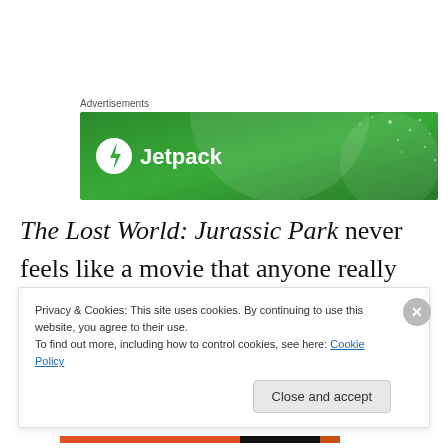Advertisements
[Figure (logo): Jetpack advertisement banner with green background and Jetpack logo]
The Lost World: Jurassic Park never feels like a movie that anyone really wanted to make.  It feels like a pressure-sequel, a movie put into production by pressure
Privacy & Cookies: This site uses cookies. By continuing to use this website, you agree to their use.
To find out more, including how to control cookies, see here: Cookie Policy
Close and accept